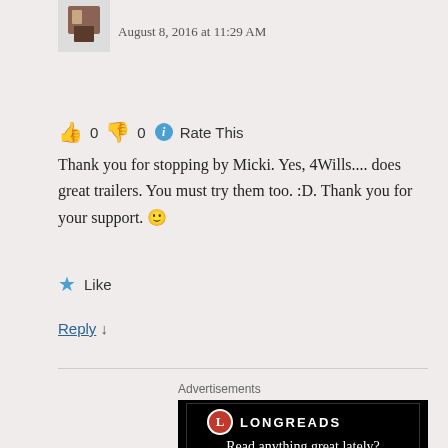August 8, 2016 at 11:29 AM
👍 0 👎 0 ℹ Rate This
Thank you for stopping by Micki. Yes, 4Wills.... does great trailers. You must try them too. :D. Thank you for your support. 🙂
★ Like
Reply ↓
Advertisements
[Figure (screenshot): Longreads advertisement banner with black background, red circle logo with 'L', brand name LONGREADS, and text 'Read anything great lately?']